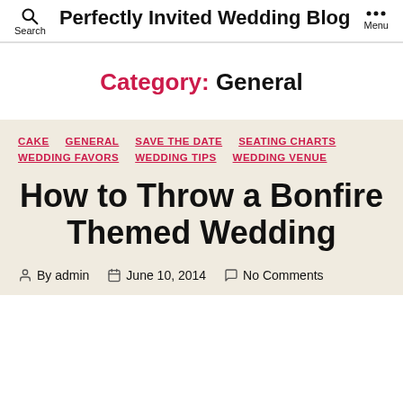Perfectly Invited Wedding Blog
Category: General
CAKE
GENERAL
SAVE THE DATE
SEATING CHARTS
WEDDING FAVORS
WEDDING TIPS
WEDDING VENUE
How to Throw a Bonfire Themed Wedding
By admin  June 10, 2014  No Comments